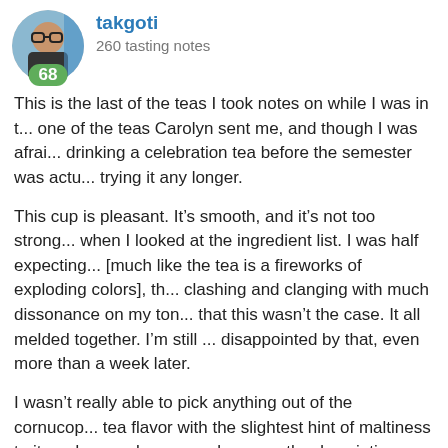takgoti
260 tasting notes
This is the last of the teas I took notes on while I was in t... one of the teas Carolyn sent me, and though I was afrai... drinking a celebration tea before the semester was actu... trying it any longer.
This cup is pleasant. It's smooth, and it's not too strong... when I looked at the ingredient list. I was half expecting... [much like the tea is a fireworks of exploding colors], th... clashing and clanging with much dissonance on my ton... that this wasn't the case. It all melded together. I'm still ... disappointed by that, even more than a week later.
I wasn't really able to pick anything out of the cornucop... tea flavor with the slightest hint of maltiness to it, and a... makes sense because the description says this contains... reminded of the dreaded hibiscus, if I'm being honest, b... paying full attention, what with trying to watch a physics... tea at the same time. [In fact, I have a formula written o...